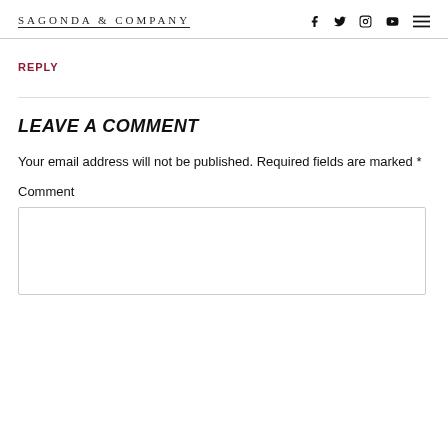SAGONDA & COMPANY
REPLY
LEAVE A COMMENT
Your email address will not be published. Required fields are marked *
Comment